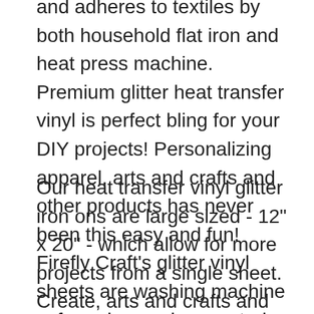and adheres to textiles by both household flat iron and heat press machine. Premium glitter heat transfer vinyl is perfect bling for your DIY projects! Personalizing apparel, arts and crafts and other products has never been this easy and fun! Firefly Craft's glitter vinyl sheets are washing machine safe and come in assorted colors!
Our heat transfer vinyl glitter iron ons are large sized - 12" x 20" - which allow for more projects from a single sheet. Create, arts and crafts and so much more with heat transfer vinyl bundle packs! Firefly Craft's heat press vinyl iron on transfer paper is easy to weed and press, customize and design clothing, decorations, no special tool needed; multiple colors facilitates customization.